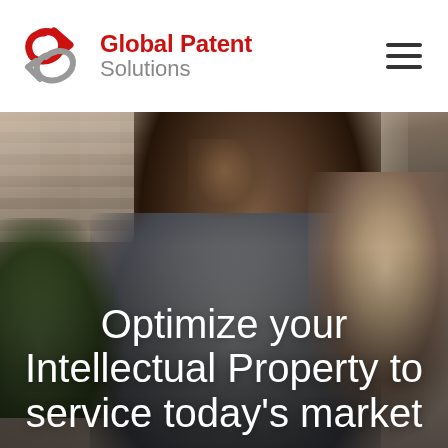[Figure (logo): Global Patent Solutions logo: stylized S/arrow icon in red and gray, with company name 'Global Patent Solutions' in bold red and gray sans-serif text]
[Figure (photo): Hero photo of a smiling Black woman with braided hair looking to the side, talking with a man wearing glasses, shot in a warm interior setting with a brick wall and green plant in background]
Optimize your Intellectual Property to service today's market